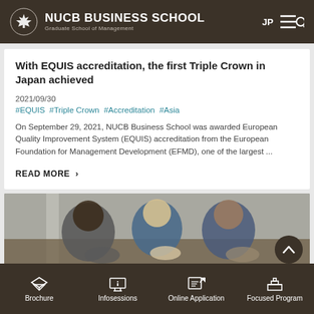NUCB BUSINESS SCHOOL Graduate School of Management
With EQUIS accreditation, the first Triple Crown in Japan achieved
2021/09/30
#EQUIS  #Triple Crown  #Accreditation  #Asia
On September 29, 2021, NUCB Business School was awarded European Quality Improvement System (EQUIS) accreditation from the European Foundation for Management Development (EFMD), one of the largest ...
READ MORE >
[Figure (photo): Overhead view of three students leaning over a table, working together]
Brochure  Infosessions  Online Application  Focused Program